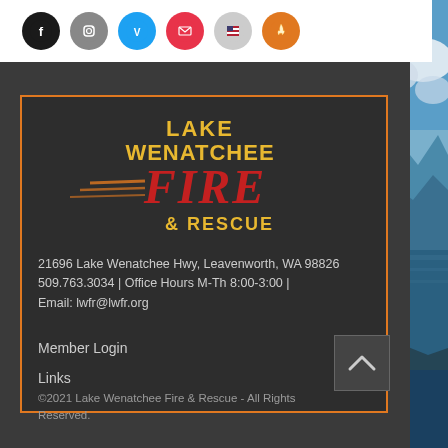[Figure (logo): Social media icons row: Facebook (black circle), Instagram (grey circle), Twitter/Vimeo (blue circle), YouTube/mail (red circle), US flag circle, fire/flame icon circle]
[Figure (logo): Lake Wenatchee Fire & Rescue logo - text LAKE WENATCHEE in gold, FIRE in red italic with speed lines, & RESCUE in gold]
21696 Lake Wenatchee Hwy, Leavenworth, WA 98826
509.763.3034 | Office Hours M-Th 8:00-3:00 |
Email: lwfr@lwfr.org
Member Login
Links
©2021 Lake Wenatchee Fire & Rescue - All Rights Reserved.
[Figure (photo): Right side strip showing a mountain lake landscape with blue sky, white clouds, rocky mountains and blue water]